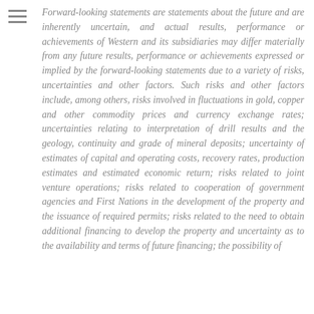Forward-looking statements are statements about the future and are inherently uncertain, and actual results, performance or achievements of Western and its subsidiaries may differ materially from any future results, performance or achievements expressed or implied by the forward-looking statements due to a variety of risks, uncertainties and other factors. Such risks and other factors include, among others, risks involved in fluctuations in gold, copper and other commodity prices and currency exchange rates; uncertainties relating to interpretation of drill results and the geology, continuity and grade of mineral deposits; uncertainty of estimates of capital and operating costs, recovery rates, production estimates and estimated economic return; risks related to joint venture operations; risks related to cooperation of government agencies and First Nations in the development of the property and the issuance of required permits; risks related to the need to obtain additional financing to develop the property and uncertainty as to the availability and terms of future financing; the possibility of